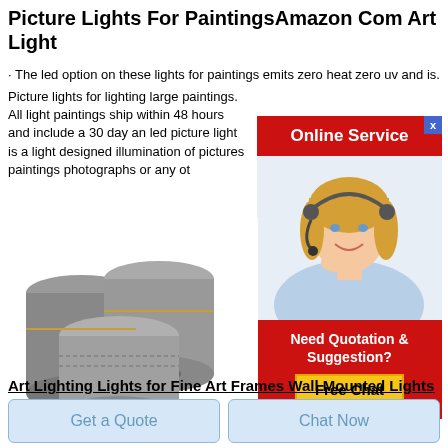Picture Lights For PaintingsAmazon Com Art Light
· The led option on these lights for paintings emits zero heat zero uv and is.
Picture lights for lighting large paintings. All light paintings ship within 48 hours and include a 30 day an led picture light is a light designed illumination of pictures paintings photographs or any ot
[Figure (photo): Online Service banner with close button (x), red background]
[Figure (photo): Customer service agent - woman with headset smiling, wearing blue shirt]
[Figure (other): Need Quotation & Suggestion? Free Chat button in red box with yellow button]
[Figure (photo): Three large graphite electrode cylinders stacked together, grey color]
Art Lighting Lights for Fine Art Frames Wall Mounted Lights
Get a Quote
Chat Now